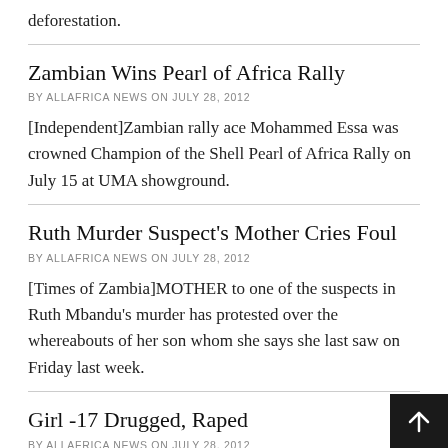deforestation.
Zambian Wins Pearl of Africa Rally
BY ALLAFRICA NEWS ON JULY 28, 2012
[Independent]Zambian rally ace Mohammed Essa was crowned Champion of the Shell Pearl of Africa Rally on July 15 at UMA showground.
Ruth Murder Suspect's Mother Cries Foul
BY ALLAFRICA NEWS ON JULY 28, 2012
[Times of Zambia]MOTHER to one of the suspects in Ruth Mbandu's murder has protested over the whereabouts of her son whom she says she last saw on Friday last week.
Girl -17 Drugged, Raped
BY ALLAFRICA NEWS ON JULY 28, 2012